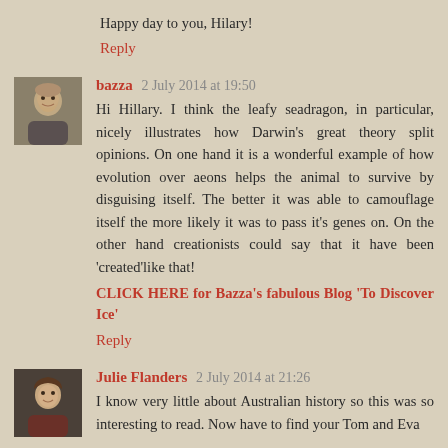Happy day to you, Hilary!
Reply
bazza 2 July 2014 at 19:50
Hi Hillary. I think the leafy seadragon, in particular, nicely illustrates how Darwin's great theory split opinions. On one hand it is a wonderful example of how evolution over aeons helps the animal to survive by disguising itself. The better it was able to camouflage itself the more likely it was to pass it's genes on. On the other hand creationists could say that it have been 'created'like that!
CLICK HERE for Bazza's fabulous Blog 'To Discover Ice'
Reply
Julie Flanders 2 July 2014 at 21:26
I know very little about Australian history so this was so interesting to read. Now have to find your Tom and Eva